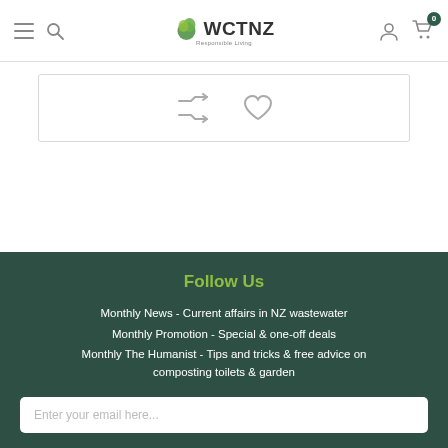WCTNZ - Responsible Living (navigation header with hamburger, search, logo, user, cart icons)
[Figure (screenshot): Product card area with shuffle and heart/wishlist icons inside a bordered rectangle]
Follow Us
Monthly News - Current affairs in NZ wastewater
Monthly Promotion - Special & one-off deals
Monthly The Humanist - Tips and tricks & free advice on composting toilets & garden
Enter your email here...